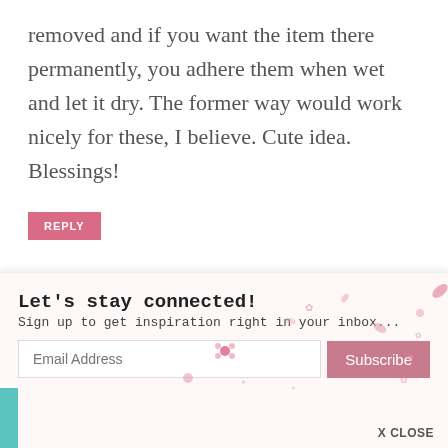removed and if you want the item there permanently, you adhere them when wet and let it dry. The former way would work nicely for these, I believe. Cute idea. Blessings!
REPLY
PATTI @ PANDORA'S BOX SAYS:
MARCH 24, 2022 AT 5:44 PM
Cute idea!
REPLY
[Figure (screenshot): Newsletter signup popup overlay with title 'Let’s stay connected!', subtitle 'Sign up to get inspiration right in your inbox...', email input field, Subscribe button, decorative pink flower petals, and X CLOSE button.]